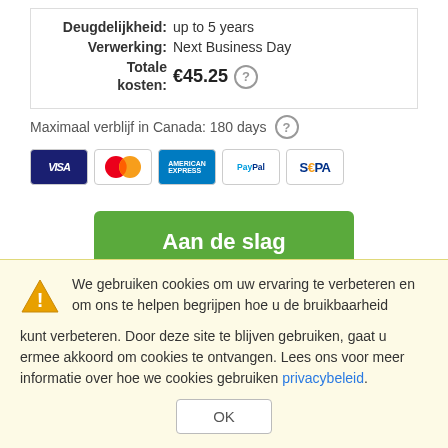Deugdelijkheid: up to 5 years
Verwerking: Next Business Day
Totale kosten: €45.25
Maximaal verblijf in Canada: 180 days
[Figure (other): Payment method icons: VISA, Mastercard, American Express, PayPal, SEPA]
Aan de slag
We gebruiken cookies om uw ervaring te verbeteren en om ons te helpen begrijpen hoe u de bruikbaarheid kunt verbeteren. Door deze site te blijven gebruiken, gaat u ermee akkoord om cookies te ontvangen. Lees ons voor meer informatie over hoe we cookies gebruiken privacybeleid.
OK